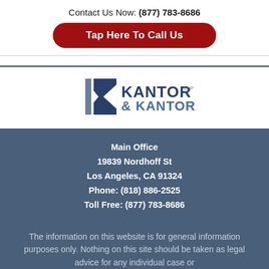Contact Us Now: (877) 783-8686
Tap Here To Call Us
[Figure (logo): Kantor & Kantor LLP law firm logo with stylized K letterform in dark blue/gray]
Main Office
19839 Nordhoff St
Los Angeles, CA 91324
Phone: (818) 886-2525
Toll Free: (877) 783-8686
The information on this website is for general information purposes only. Nothing on this site should be taken as legal advice for any individual case or